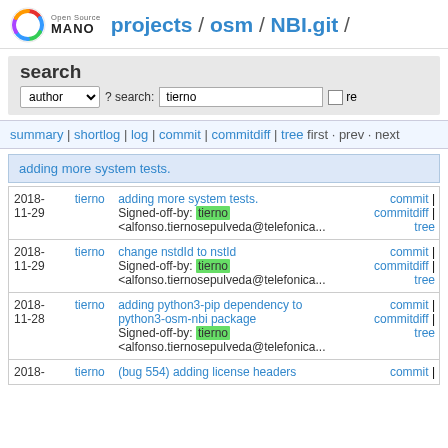Open Source MANO projects / osm / NBI.git /
search
author ? search: tierno re
summary | shortlog | log | commit | commitdiff | tree first · prev · next
adding more system tests.
| date | author | message | links |
| --- | --- | --- | --- |
| 2018-11-29 | tierno | adding more system tests.
Signed-off-by: tierno
<alfonso.tiernosepulveda@telefonica... | commit | commitdiff | tree |
| 2018-11-29 | tierno | change nstdId to nstId
Signed-off-by: tierno
<alfonso.tiernosepulveda@telefonica... | commit | commitdiff | tree |
| 2018-11-28 | tierno | adding python3-pip dependency to python3-osm-nbi package
Signed-off-by: tierno
<alfonso.tiernosepulveda@telefonica... | commit | commitdiff | tree |
| 2018- | tierno | (bug 554) adding license headers | commit | |